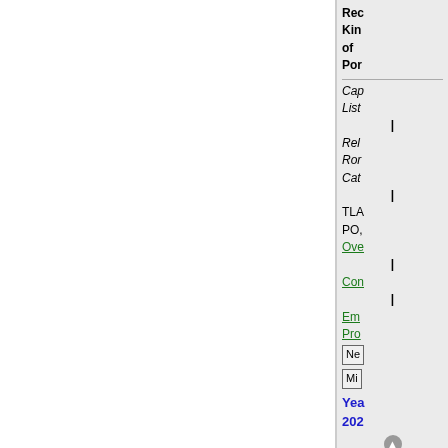Rec
Kin
of
Por
Cap
List
|
Rel
Ror
Cat
|
TLA
PO,
Ove
|
Con
|
Em
Pro
Ne
Mi
Yea
202
[Figure (screenshot): Bottom card area with QUOTE button visible, partial image showing document/cards layout]